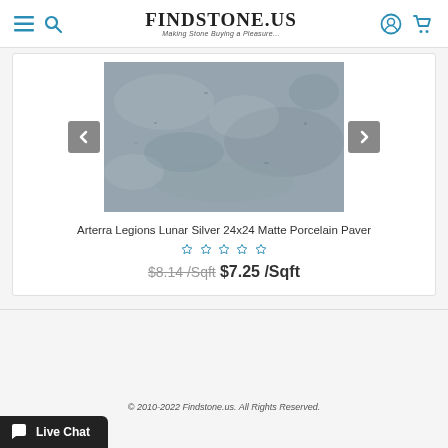FINDSTONE.US — Making Stone Buying a Pleasure...
[Figure (photo): Gray matte porcelain stone tile with blue-gray speckled surface texture, shown as a product image with left and right navigation arrows]
Arterra Legions Lunar Silver 24x24 Matte Porcelain Paver
☆☆☆☆☆ (5 empty stars rating)
$8.14 /Sqft   $7.25 /Sqft
© 2010-2022 Findstone.us. All Rights Reserved.